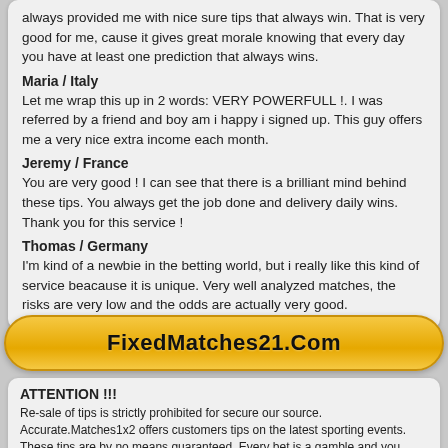always provided me with nice sure tips that always win. That is very good for me, cause it gives great morale knowing that every day you have at least one prediction that always wins.
Maria / Italy
Let me wrap this up in 2 words: VERY POWERFULL !. I was referred by a friend and boy am i happy i signed up. This guy offers me a very nice extra income each month.
Jeremy / France
You are very good ! I can see that there is a brilliant mind behind these tips. You always get the job done and delivery daily wins. Thank you for this service !
Thomas / Germany
I'm kind of a newbie in the betting world, but i really like this kind of service beacause it is unique. Very well analyzed matches, the risks are very low and the odds are actually very good.
[Figure (other): Yellow gradient button with text FixedMatches21.Com]
ATTENTION !!!
Re-sale of tips is strictly prohibited for secure our source. Accurate.Matches1x2 offers customers tips on the latest sporting events. These tips are by no means guaranteed. Every bet is a gamble and you pose the risk of losing. If you feel that gambling is becoming a problem please contact us for some advice.